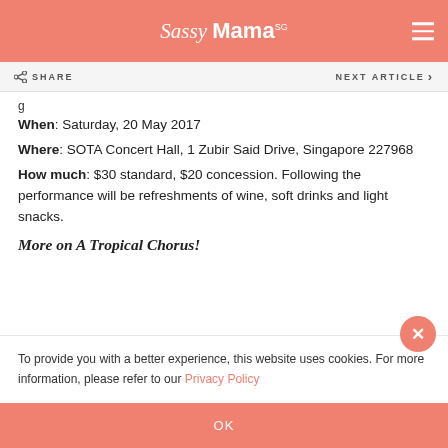Sassy Mama
SHARE   NEXT ARTICLE
When: Saturday, 20 May 2017
Where: SOTA Concert Hall, 1 Zubir Said Drive, Singapore 227968
How much: $30 standard, $20 concession. Following the performance will be refreshments of wine, soft drinks and light snacks.
More on A Tropical Chorus!
To provide you with a better experience, this website uses cookies. For more information, please refer to our Privacy Policy
OK